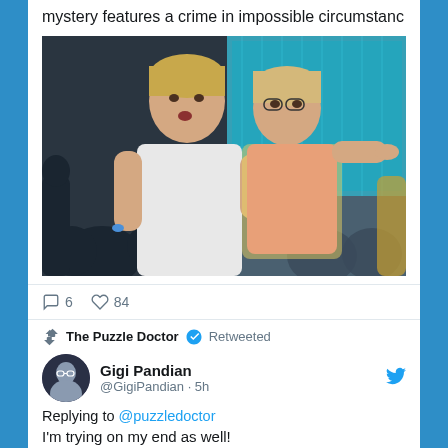mystery features a crime in impossible circumstanc
[Figure (photo): Two young people at an outdoor concert or event, facing each other closely. Person on left wears a white shirt, person on right wears a pink top and yellow jacket. Crowd and blue LED screen visible in background.]
6  84 (comment and heart icons)
The Puzzle Doctor 💙 Retweeted
Gigi Pandian @GigiPandian · 5h
Replying to @puzzledoctor
I'm trying on my end as well!
somethingisgoingtohappen.net/2021/07/07/loc